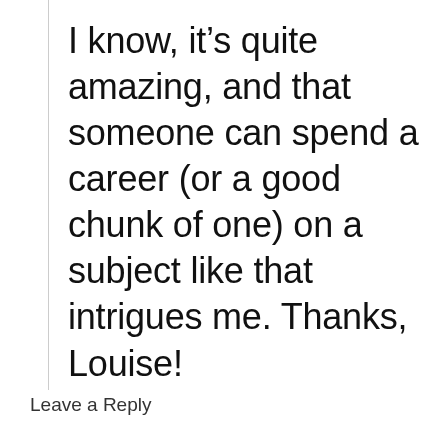I know, it’s quite amazing, and that someone can spend a career (or a good chunk of one) on a subject like that intrigues me. Thanks, Louise!
Leave a Reply